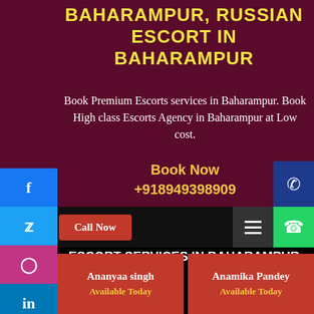BAHARAMPUR, RUSSIAN ESCORT IN BAHARAMPUR
Book Premium Escorts services in Baharampur. Book High class Escorts Agency in Baharampur at Low cost.
Book Now +918949398909
Call Now
ESCORT SERVICES IN BAHARAMPUR, CALL GIRLS IN BAHARAMPUR
Ananyaa singh
Available Today
Anamika Pandey
Available Today